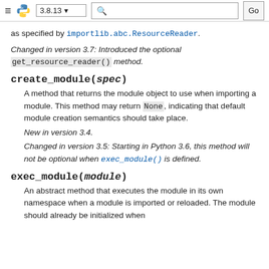≡ [Python logo] 3.8.13 ▾ [search] Go
as specified by importlib.abc.ResourceReader.
Changed in version 3.7: Introduced the optional get_resource_reader() method.
create_module(spec)
A method that returns the module object to use when importing a module. This method may return None, indicating that default module creation semantics should take place.
New in version 3.4.
Changed in version 3.5: Starting in Python 3.6, this method will not be optional when exec_module() is defined.
exec_module(module)
An abstract method that executes the module in its own namespace when a module is imported or reloaded. The module should already be initialized when